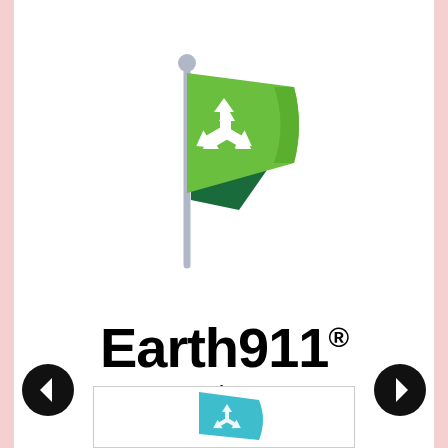[Figure (logo): Earth911 logo: a green flag with white recycling symbol on a silver/gray flagpole, with a darker green shadow flag behind it]
Earth911®
Earth 911
[Figure (logo): Partial view of another recycling-related logo in teal/cyan at the bottom of the page]
[Figure (other): Left navigation arrow (black circle with white left-pointing arrow)]
[Figure (other): Right navigation arrow (black circle with white right-pointing arrow)]